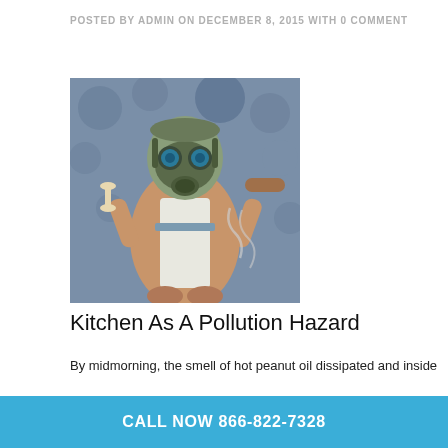POSTED BY ADMIN ON DECEMBER 8, 2015 WITH 0 COMMENT
[Figure (illustration): Illustrated figure of a cook wearing a gas mask and apron, holding cooking utensils, surrounded by smoke and bubbles in a stylized cartoon/comic art style.]
Kitchen As A Pollution Hazard
By midmorning, the smell of hot peanut oil dissipated and inside the tightly sealed laboratory known as Building 51F, a pink hamburger sizzled in a pan over a raging gas flame. Overhead, fans whirred, whisking
CALL NOW 866-822-7328